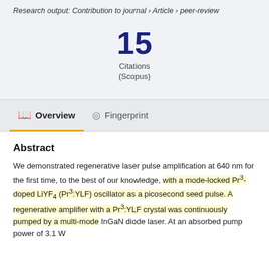Research output: Contribution to journal › Article › peer-review
15 Citations (Scopus)
Overview   Fingerprint
Abstract
We demonstrated regenerative laser pulse amplification at 640 nm for the first time, to the best of our knowledge, with a mode-locked Pr3-doped LiYF4 (Pr3:YLF) oscillator as a picosecond seed pulse. A regenerative amplifier with a Pr3:YLF crystal was continuously pumped by a multi-mode InGaN diode laser. At an absorbed pump power of 3.1 W